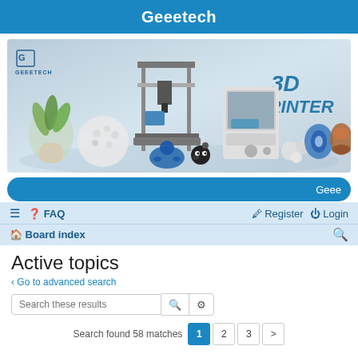Geeetech
[Figure (photo): Geeetech 3D printer advertisement banner showing 3D printers and various 3D printed objects including plants, figurines, a turtle, and decorative items. Text reads '3D PRINTER' and shows the Geeetech logo.]
Geee
≡  FAQ    Register   Login
Board index
Active topics
< Go to advanced search
Search these results
Search found 58 matches  1  2  3  >